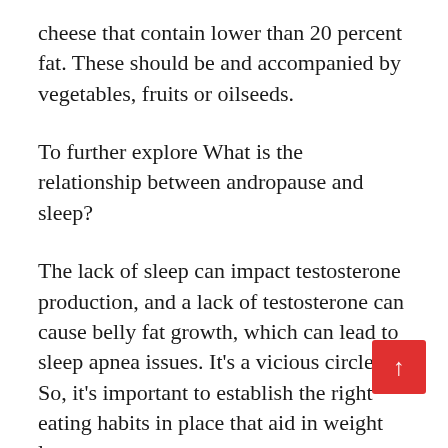cheese that contain lower than 20 percent fat. These should be and accompanied by vegetables, fruits or oilseeds.
To further explore What is the relationship between andropause and sleep?
The lack of sleep can impact testosterone production, and a lack of testosterone can cause belly fat growth, which can lead to sleep apnea issues. It's a vicious circle. So, it's important to establish the right eating habits in place that aid in weight loss necessary or for stabilization of the weight